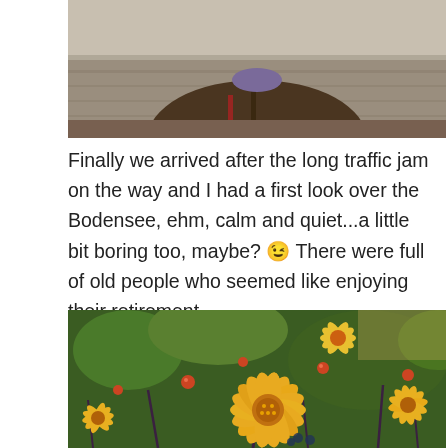[Figure (photo): Person wearing a brown zip-up jacket, standing outdoors near a stone wall background.]
Finally we arrived after the long traffic jam on the way and I had a first look over the Bodensee, ehm, calm and quiet...a little bit boring too, maybe? 😉 There were full of old people who seemed like enjoying their retirement.
[Figure (photo): Close-up photograph of yellow dahlias and orange-red berries in a garden, in bright sunlight with green foliage in the background.]